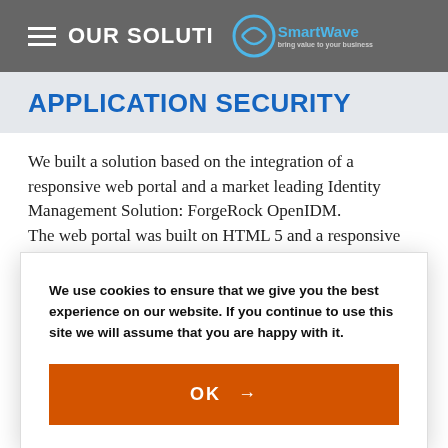OUR SOLUTION — SmartWave
APPLICATION SECURITY
We built a solution based on the integration of a responsive web portal and a market leading Identity Management Solution: ForgeRock OpenIDM.
The web portal was built on HTML 5 and a responsive framework, Angular. Its architecture
We use cookies to ensure that we give you the best experience on our website. If you continue to use this site we will assume that you are happy with it.
OK →
based on ForgeRock OpenIDM. Its main